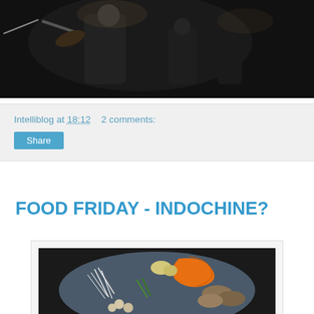[Figure (photo): A musician playing violin on stage in dark lighting, with other performers visible in the background.]
Intelliblog at 18:12    2 comments:
[Figure (other): Share button]
FOOD FRIDAY - INDOCHINE?
[Figure (photo): A plate of Asian ingredients including bean sprouts, sliced mushrooms, orange bell pepper strips, water chestnuts, green onions, and garlic arranged on a dark blue plate.]